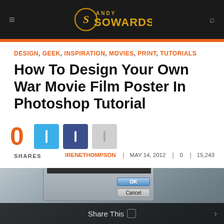Andy Sowards
DESIGN, GEEK, INSPIRATION, MOVIES, PRINT, TUTORIALS
How To Design Your Own War Movie Film Poster In Photoshop Tutorial
0 SHARES  IRENETHOMPSON  MAY 14, 2012  0  15,243
[Figure (screenshot): A Photoshop Motion Blur dialog box over a brushed metal texture background, with OK and Cancel buttons. A 'Share This' overlay bar is at the bottom.]